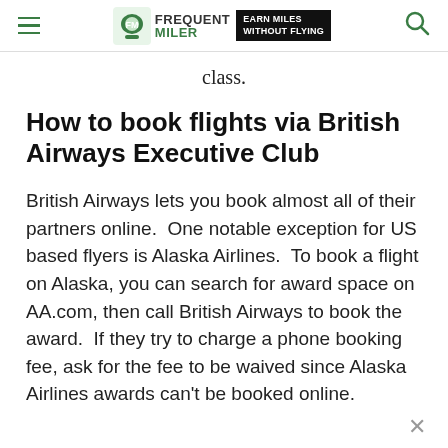Frequent Miler — Earn Miles Without Flying
class.
How to book flights via British Airways Executive Club
British Airways lets you book almost all of their partners online.  One notable exception for US based flyers is Alaska Airlines.  To book a flight on Alaska, you can search for award space on AA.com, then call British Airways to book the award.  If they try to charge a phone booking fee, ask for the fee to be waived since Alaska Airlines awards can't be booked online.